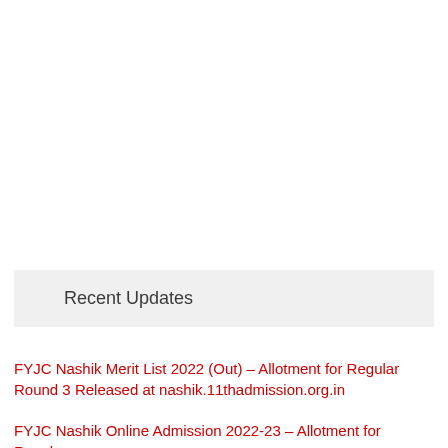Recent Updates
FYJC Nashik Merit List 2022 (Out) – Allotment for Regular Round 3 Released at nashik.11thadmission.org.in
FYJC Nashik Online Admission 2022-23 – Allotment for Regular